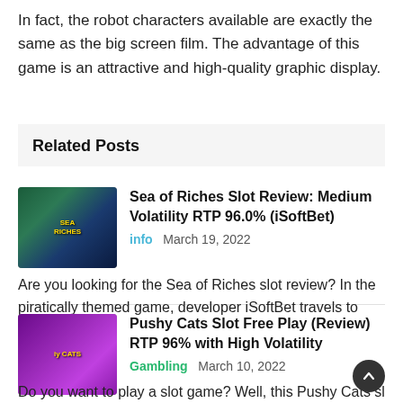In fact, the robot characters available are exactly the same as the big screen film. The advantage of this game is an attractive and high-quality graphic display.
Related Posts
[Figure (photo): Sea of Riches slot game thumbnail with pirate theme, dark green and blue background]
Sea of Riches Slot Review: Medium Volatility RTP 96.0% (iSoftBet)
info   March 19, 2022
Are you looking for the Sea of Riches slot review? In the piratically themed game, developer iSoftBet travels to the…
[Figure (photo): Pushy Cats slot game thumbnail with purple background and yellow cat character]
Pushy Cats Slot Free Play (Review) RTP 96% with High Volatility
Gambling   March 10, 2022
Do you want to play a slot game? Well, this Pushy Cats sl…